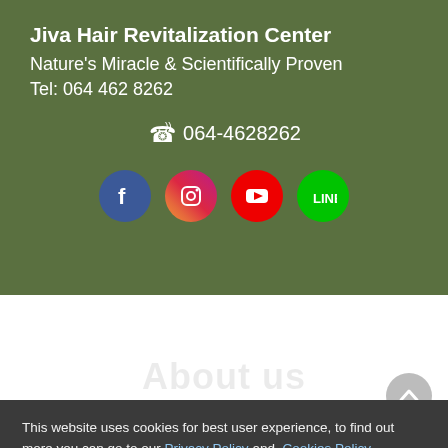Jiva Hair Revitalization Center
Nature's Miracle & Scientifically Proven
Tel: 064 462 8262
064-4628262
[Figure (logo): Social media icons: Facebook, Instagram, YouTube, LINE]
[Figure (logo): Thai Herb Hub logo with tree illustration]
[Figure (illustration): Search icon, shopping cart icon, and hamburger menu icon in navigation bar]
About us
This website uses cookies for best user experience, to find out more you can go to our Privacy Policy and Cookies Policy
Set Cookies
Accept All